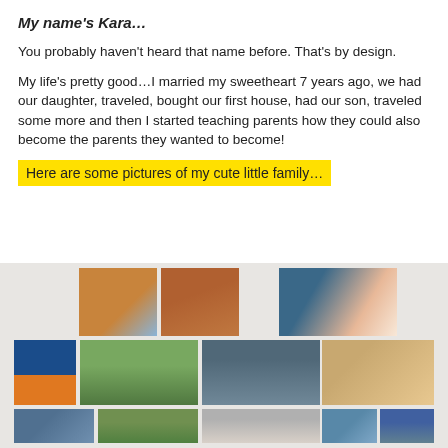My name's Kara…
You probably haven't heard that name before. That's by design.
My life's pretty good…I married my sweetheart 7 years ago, we had our daughter, traveled, bought our first house, had our son, traveled some more and then I started teaching parents how they could also become the parents they wanted to become!
Here are some pictures of my cute little family…
[Figure (photo): Photo collage of family pictures showing various outdoor and family scenes]